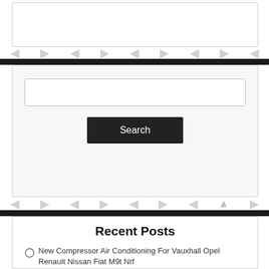[Figure (screenshot): Search input box widget at top of page]
[Figure (screenshot): Search widget with text input field and Search button]
Recent Posts
New Compressor Air Conditioning For Vauxhall Opel Renault Nissan Fiat M9t Nrf
Glow Plug Diesel Plugs Engine 062900111304 for Opel Movano Vivaro Renault Espace
Alternator Generator for Renault Vauxhall Opel NissanVIVARO, LAGUNA III 3
Original Renault Door Lock Rear Lock Double Door Left Vauxhall Vivaro 8200282295